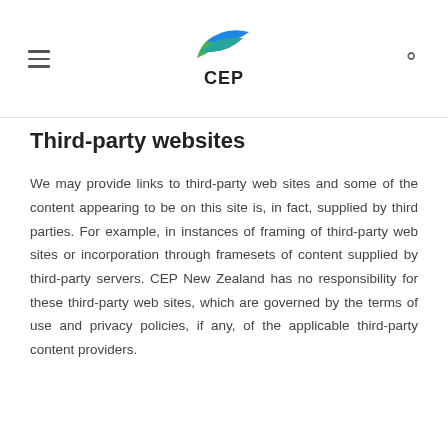CEP
Third-party websites
We may provide links to third-party web sites and some of the content appearing to be on this site is, in fact, supplied by third parties. For example, in instances of framing of third-party web sites or incorporation through framesets of content supplied by third-party servers. CEP New Zealand has no responsibility for these third-party web sites, which are governed by the terms of use and privacy policies, if any, of the applicable third-party content providers.